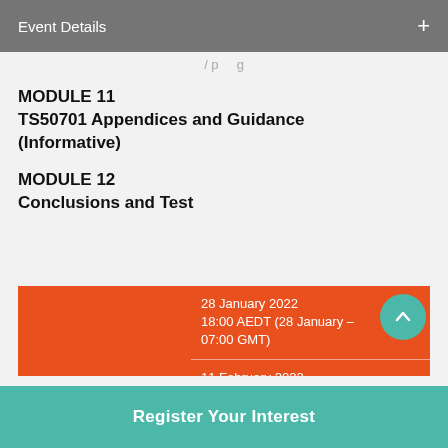Event Details +
MODULE 11
TS50701 Appendices and Guidance (Informative)
MODULE 12
Conclusions and Test
|  | Date / Time |
| --- | --- |
|  | 28 January 2022
18:00 AEDT (28 January – 07:00 GMT) |
|  | 11 February 2022
18:00 AEDT (11 February – 07:00 GMT) |
|  | 18 February 2022 |
Register Your Interest